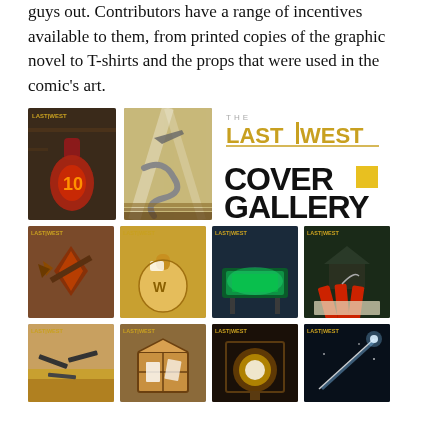guys out. Contributors have a range of incentives available to them, from printed copies of the graphic novel to T-shirts and the props that were used in the comic's art.
[Figure (illustration): Cover gallery for 'The Last West' comic series. Shows two large comic covers in top row (cover with glowing red bottle labeled '10', cover with airplane and hose), plus the 'THE LAST|WEST COVER GALLERY' logo text. Second row shows four comic covers featuring various scenes (arrows/diamond, money bags, glowing table, dynamite sticks). Third row (partial) shows four more comic covers (guns/sand, wooden box, glowing orb, missile/streak).]